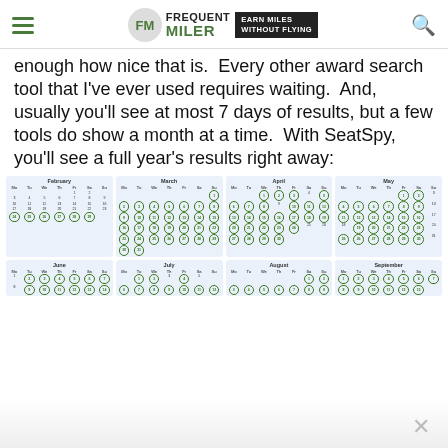Frequent Miler — Earn Miles Without Flying
enough how nice that is. Every other award search tool that I've ever used requires waiting. And, usually you'll see at most 7 days of results, but a few tools do show a month at a time. With SeatSpy, you'll see a full year's results right away:
[Figure (other): Calendar grid showing SeatSpy full-year availability results across months: February, March, April, May, June, July, August, September. Most dates are circled in green indicating seat availability.]